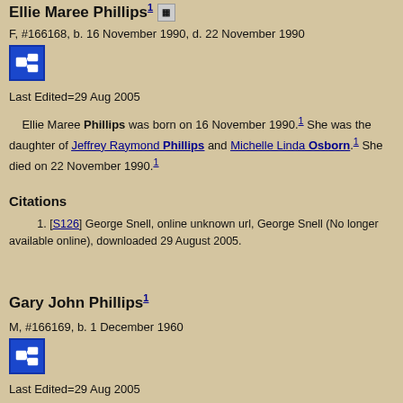Ellie Maree Phillips¹
F, #166168, b. 16 November 1990, d. 22 November 1990
Last Edited=29 Aug 2005
Ellie Maree Phillips was born on 16 November 1990.¹ She was the daughter of Jeffrey Raymond Phillips and Michelle Linda Osborn.¹ She died on 22 November 1990.¹
Citations
[S126] George Snell, online unknown url, George Snell (No longer available online), downloaded 29 August 2005.
Gary John Phillips¹
M, #166169, b. 1 December 1960
Last Edited=29 Aug 2005